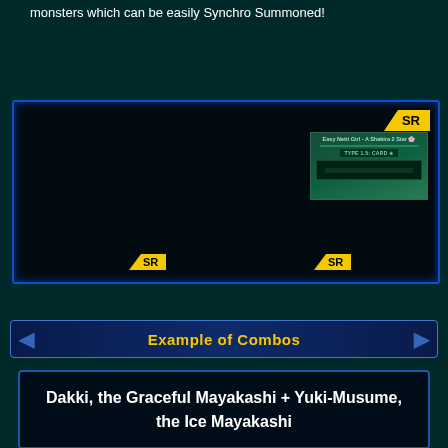monsters which can be easily Synchro Summoned!
[Figure (screenshot): Card grid display showing 4 SR-rated card slots with one card thumbnail visible in the top-right slot (Easy Netti Girl - A Shakira 2 Star type label card). Three empty SR slots at the bottom.]
Example of Combos
Dakki, the Graceful Mayakashi + Yuki-Musume, the Ice Mayakashi